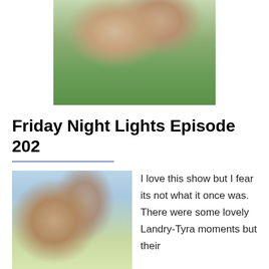[Figure (photo): A couple embracing outdoors — a man in a grey tank top and a woman in a dark strapless beaded top, with a green field background. Top of page image.]
Friday Night Lights Episode 202
[Figure (photo): A man with long dark hair embracing a woman with dark hair, both outdoors with a sky and green field background. Episode promotional image.]
I love this show but I fear its not what it once was. There were some lovely Landry-Tyra moments but their